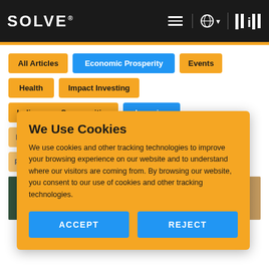SOLVE® | MIT — Navigation bar with hamburger menu, globe icon, and MIT logo
All Articles
Economic Prosperity
Events
Health
Impact Investing
Indigenous Communities
Learning
Membership
Partner Challenges
Partnerships
Press Releases
Sponsorship
Sustainability
[Figure (photo): Photo strip showing people in outdoor/community setting]
We Use Cookies
We use cookies and other tracking technologies to improve your browsing experience on our website and to understand where our visitors are coming from. By browsing our website, you consent to our use of cookies and other tracking technologies.
ACCEPT
REJECT